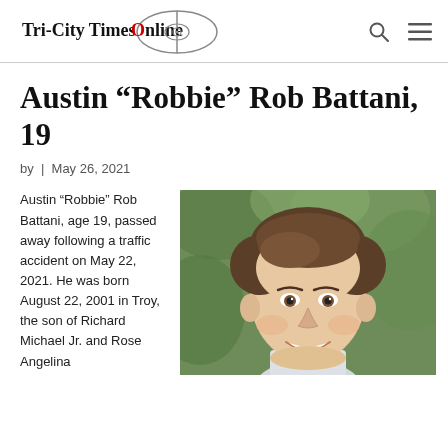Tri-City Times Online
Austin “Robbie” Rob Battani, 19
by | May 26, 2021
Austin “Robbie” Rob Battani, age 19, passed away following a traffic accident on May 22, 2021. He was born August 22, 2001 in Troy, the son of Richard Michael Jr. and Rose Angelina…
[Figure (photo): Portrait photo of a smiling young man with brown hair against a green leafy background]